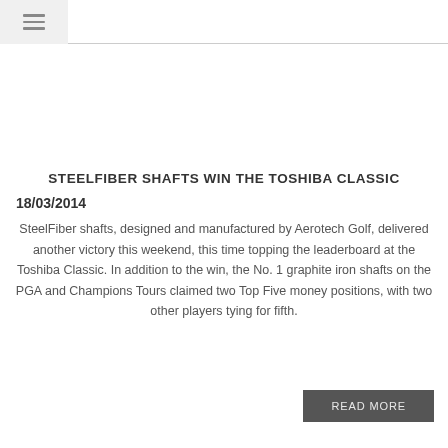≡
STEELFIBER SHAFTS WIN THE TOSHIBA CLASSIC
18/03/2014
SteelFiber shafts, designed and manufactured by Aerotech Golf, delivered another victory this weekend, this time topping the leaderboard at the Toshiba Classic. In addition to the win, the No. 1 graphite iron shafts on the PGA and Champions Tours claimed two Top Five money positions, with two other players tying for fifth.
READ MORE